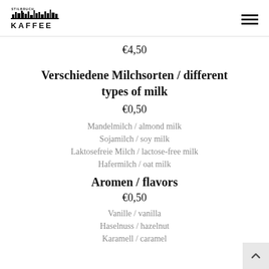Stilbruch Kaffee
€4,50
Verschiedene Milchsorten / different types of milk
€0,50
Mandelmilch / almond milk
Sojamilch / soy milk
Laktosefreie Milch / lactose-free milk
Hafermilch / oat milk
Aromen / flavors
€0,50
Vanille / vanilla
Haselnuss / hazelnut
Karamell / caramel